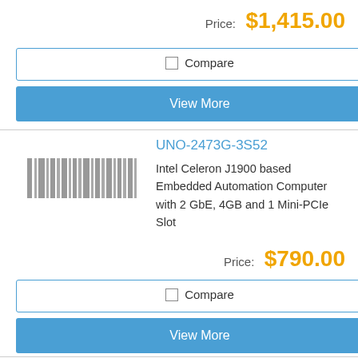Price: $1,415.00
Compare
View More
UNO-2473G-3S52
Intel Celeron J1900 based Embedded Automation Computer with 2 GbE, 4GB and 1 Mini-PCIe Slot
Price: $790.00
Compare
View More